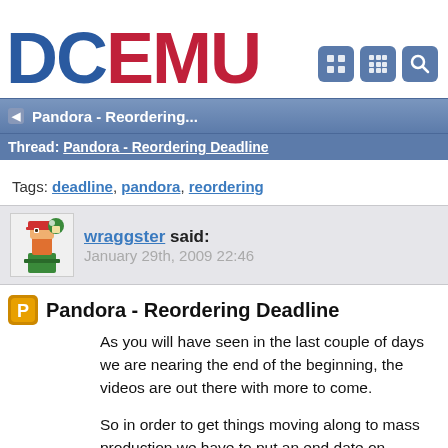DCEMU
Pandora - Reordering...
Thread: Pandora - Reordering Deadline
Tags: deadline, pandora, reordering
wraggster said:
January 29th, 2009 22:46
Pandora - Reordering Deadline
As you will have seen in the last couple of days we are nearing the end of the beginning, the videos are out there with more to come.
So in order to get things moving along to mass production we have to put an end date on reorders and also allow people to take up the empty order places.
Please try to get your REorders in within the next 7 days, don't worry if they don't arrive for a little after that